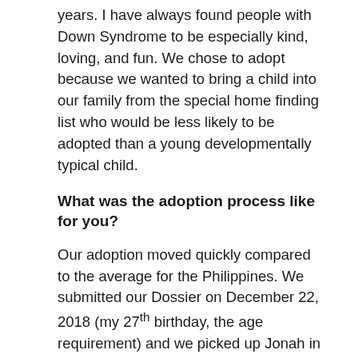years. I have always found people with Down Syndrome to be especially kind, loving, and fun. We chose to adopt because we wanted to bring a child into our family from the special home finding list who would be less likely to be adopted than a young developmentally typical child.
What was the adoption process like for you?
Our adoption moved quickly compared to the average for the Philippines. We submitted our Dossier on December 22, 2018 (my 27th birthday, the age requirement) and we picked up Jonah in August of 2019. The 8-month guardianship phase actually lasted about 14 months due to Covid delays but that wasn't too difficult for us since Jonah felt like our son as soon as we brought him home.
Sometimes all of the paperwork and bureaucracy felt overwhelming but taken one step at a time it was all manageable and of course, worth it. Katie and Diana